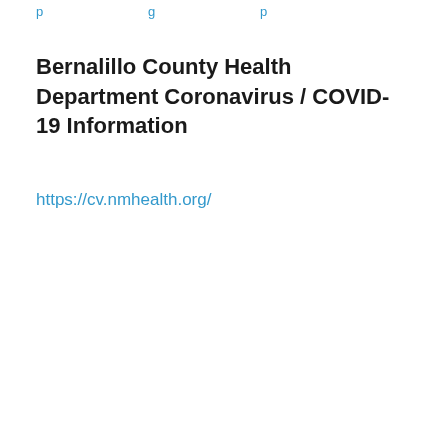p ... g ... p
Bernalillo County Health Department Coronavirus / COVID-19 Information
https://cv.nmhealth.org/